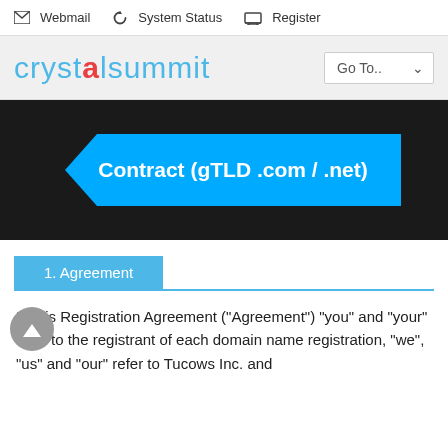Webmail   System Status   Register
[Figure (logo): Crystal Summit logo with stylized text and Go To.. dropdown navigation]
Contract (gTLD .com / .net)
1. Agreement
In this Registration Agreement (“Agreement”) “you” and “your” refer to the registrant of each domain name registration, “we”, “us” and “our” refer to Tucows Inc. and